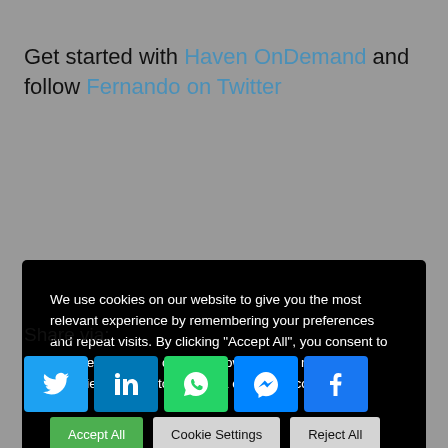Get started with Haven OnDemand and follow Fernando on Twitter
We use cookies on our website to give you the most relevant experience by remembering your preferences and repeat visits. By clicking “Accept All”, you consent to the use of ALL the cookies. However, you may visit “Cookie Settings” to provide a controlled consent.
Accept All | Cookie Settings | Reject All
Share via:
[Figure (other): Social share buttons: Twitter, LinkedIn, WhatsApp, Messenger, Facebook]